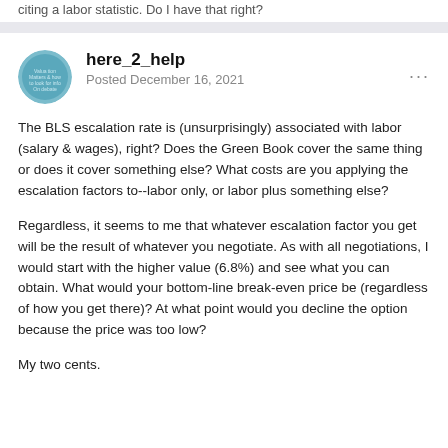citing a labor statistic. Do I have that right?
here_2_help
Posted December 16, 2021
The BLS escalation rate is (unsurprisingly) associated with labor (salary & wages), right? Does the Green Book cover the same thing or does it cover something else? What costs are you applying the escalation factors to--labor only, or labor plus something else?
Regardless, it seems to me that whatever escalation factor you get will be the result of whatever you negotiate. As with all negotiations, I would start with the higher value (6.8%) and see what you can obtain. What would your bottom-line break-even price be (regardless of how you get there)? At what point would you decline the option because the price was too low?
My two cents.